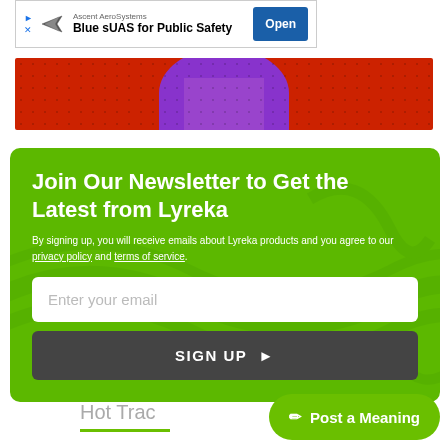[Figure (screenshot): Advertisement banner for Ascent AeroSystems - Blue sUAS for Public Safety with Open button]
[Figure (illustration): Partial illustration of a person in purple on red background]
Join Our Newsletter to Get the Latest from Lyreka
By signing up, you will receive emails about Lyreka products and you agree to our privacy policy and terms of service.
Enter your email
SIGN UP
Hot Trac
Post a Meaning